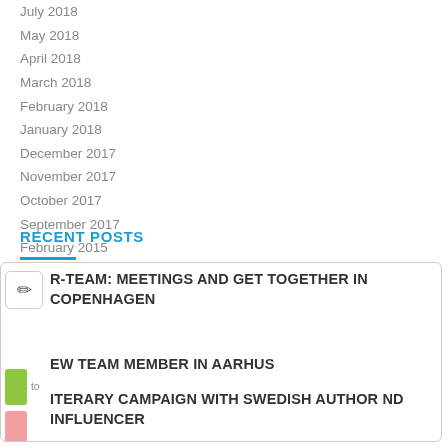July 2018
May 2018
April 2018
March 2018
February 2018
January 2018
December 2017
November 2017
October 2017
September 2017
February 2015
RECENT POSTS
R-TEAM: MEETINGS AND GET TOGETHER IN COPENHAGEN
EW TEAM MEMBER IN AARHUS
ITERARY CAMPAIGN WITH SWEDISH AUTHOR ND INFLUENCER